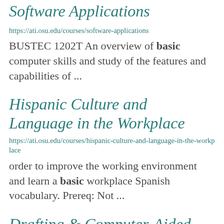Software Applications
https://ati.osu.edu/courses/software-applications
BUSTEC 1202T An overview of basic computer skills and study of the features and capabilities of ...
Hispanic Culture and Language in the Workplace
https://ati.osu.edu/courses/hispanic-culture-and-language-in-the-workplace
order to improve the working environment and learn a basic workplace Spanish vocabulary. Prereq: Not ...
Drafting & Computer-Aided Design